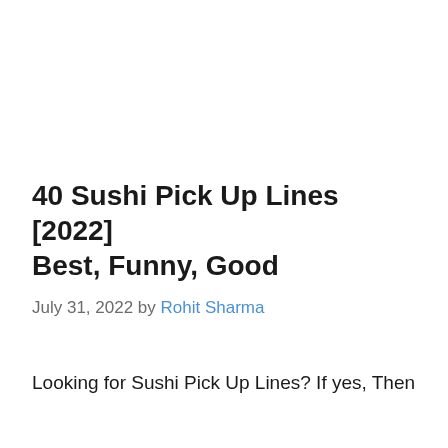40 Sushi Pick Up Lines [2022] Best, Funny, Good
July 31, 2022 by Rohit Sharma
Looking for Sushi Pick Up Lines? If yes, Then